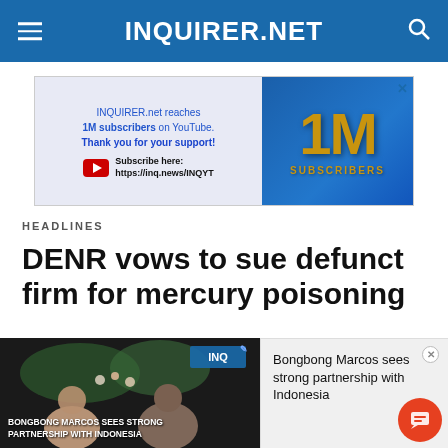INQUIRER.NET
[Figure (screenshot): Advertisement banner for INQUIRER.net reaching 1M subscribers on YouTube. Left side shows text: INQUIRER.net reaches 1M subscribers on YouTube. Thank you for your support! Subscribe here: https://inq.news/INQYT. Right side shows blue background with gold '1M' and 'SUBSCRIBERS' text.]
HEADLINES
DENR vows to sue defunct firm for mercury poisoning
[Figure (screenshot): Video thumbnail showing two people shaking hands with flowers in background, with overlay text 'BONGBONG MARCOS SEES STRONG PARTNERSHIP WITH INDONESIA' and an INQ badge. Beside it is a notification popup reading 'Bongbong Marcos sees strong partnership with Indonesia' with a close button and orange chat button.]